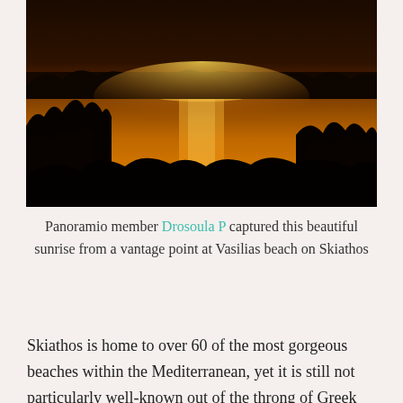[Figure (photo): A dramatic sunset photo taken from Vasilias beach on Skiathos. The image shows a golden-orange sun reflecting on the sea, with dark silhouettes of trees in the foreground and a dark treeline on the far shore. The sky is deep orange and dark.]
Panoramio member Drosoula P captured this beautiful sunrise from a vantage point at Vasilias beach on Skiathos
Skiathos is home to over 60 of the most gorgeous beaches within the Mediterranean, yet it is still not particularly well-known out of the throng of Greek